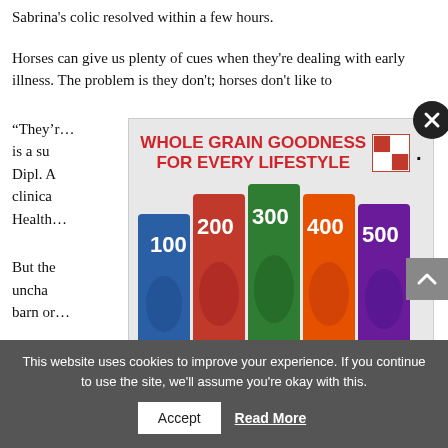Sabrina's colic resolved within a few hours.
Horses can give us plenty of cues when they're dealing with early illness. The problem is they don't; horses don't like to
“They’r… illness is a su… PhD, Dipl. A… of clinica… ary Health…
But the… uncha… the barn or… and
[Figure (infographic): Purina Omolene horse feed advertisement with red and white checkerboard Purina logo, headline 'WHOLE GRAIN GOODNESS FOR EVERY LIFESTYLE', showing five feed bags numbered 100-500 in blue, red, green, orange and purple, each with a horse image, and CTA 'Put our research to the test']
This website uses cookies to improve your experience. If you continue to use the site, we'll assume you're okay with this.
Accept    Read More